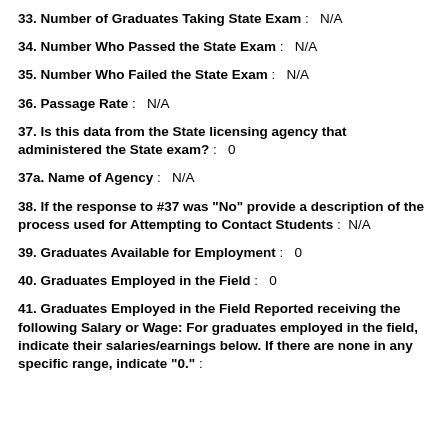33. Number of Graduates Taking State Exam : N/A
34. Number Who Passed the State Exam : N/A
35. Number Who Failed the State Exam : N/A
36. Passage Rate : N/A
37. Is this data from the State licensing agency that administered the State exam? : 0
37a. Name of Agency : N/A
38. If the response to #37 was "No" provide a description of the process used for Attempting to Contact Students : N/A
39. Graduates Available for Employment : 0
40. Graduates Employed in the Field : 0
41. Graduates Employed in the Field Reported receiving the following Salary or Wage: For graduates employed in the field, indicate their salaries/earnings below. If there are none in any specific range, indicate "0." :